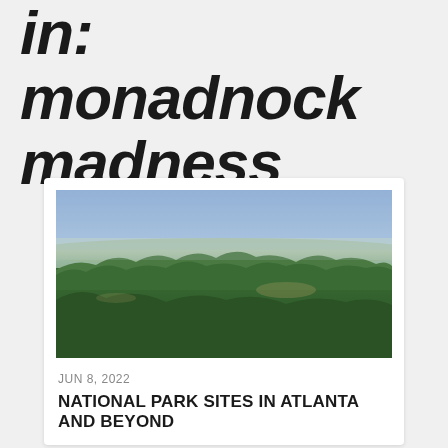in: monadnock madness
[Figure (photo): Aerial view of a forested landscape with green trees and blue sky with haze on the horizon]
JUN 8, 2022
NATIONAL PARK SITES IN ATLANTA AND BEYOND